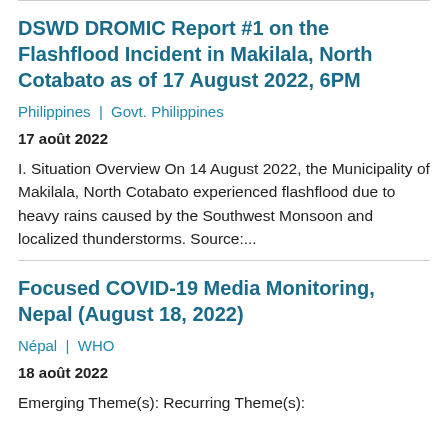DSWD DROMIC Report #1 on the Flashflood Incident in Makilala, North Cotabato as of 17 August 2022, 6PM
Philippines  |  Govt. Philippines
17 août 2022
I. Situation Overview On 14 August 2022, the Municipality of Makilala, North Cotabato experienced flashflood due to heavy rains caused by the Southwest Monsoon and localized thunderstorms. Source:...
Focused COVID-19 Media Monitoring, Nepal (August 18, 2022)
Népal  |  WHO
18 août 2022
Emerging Theme(s): Recurring Theme(s):